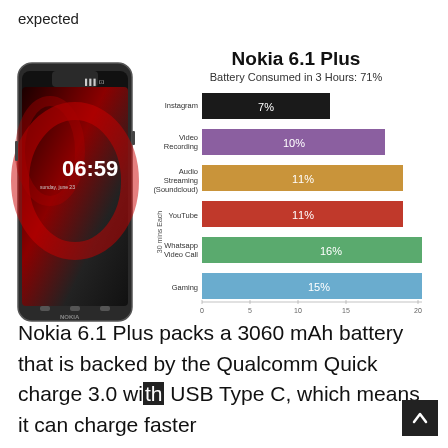expected
[Figure (bar-chart): Nokia 6.1 Plus — Battery Consumed in 3 Hours: 71%]
Nokia 6.1 Plus packs a 3060 mAh battery that is backed by the Qualcomm Quick charge 3.0 with USB Type C, which means it can charge faster